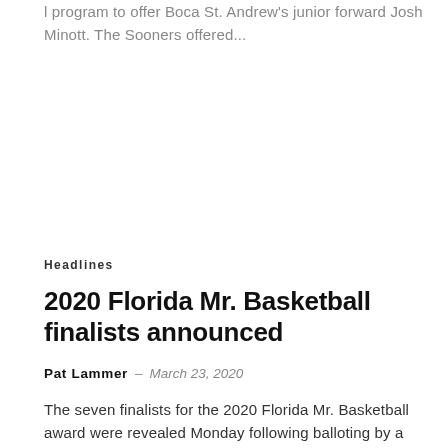l program to offer Boca St. Andrew's junior forward Josh Minott. The Sooners offered...
Headlines
2020 Florida Mr. Basketball finalists announced
Pat Lammer – March 23, 2020
The seven finalists for the 2020 Florida Mr. Basketball award were revealed Monday following balloting by a statewide panel of prep media members and...